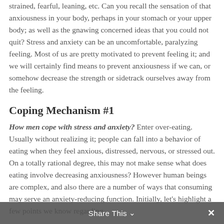strained, fearful, leaning, etc. Can you recall the sensation of that anxiousness in your body, perhaps in your stomach or your upper body; as well as the gnawing concerned ideas that you could not quit? Stress and anxiety can be an uncomfortable, paralyzing feeling. Most of us are pretty motivated to prevent feeling it; and we will certainly find means to prevent anxiousness if we can, or somehow decrease the strength or sidetrack ourselves away from the feeling.
Coping Mechanism #1
How men cope with stress and anxiety? Enter over-eating. Usually without realizing it; people can fall into a behavior of eating when they feel anxious, distressed, nervous, or stressed out. On a totally rational degree, this may not make sense what does eating involve decreasing anxiousness? However human beings are complex, and also there are a number of ways that consuming may serve an anxiety-reducing function. Initially, let's highlight a few points we know regarding